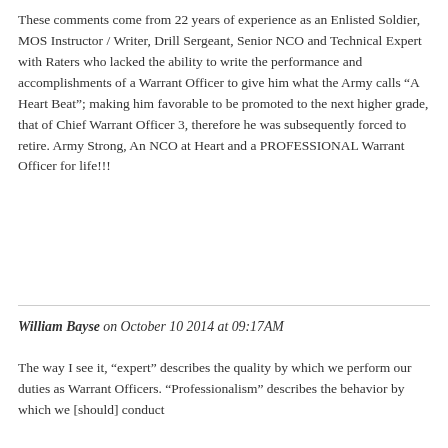These comments come from 22 years of experience as an Enlisted Soldier, MOS Instructor / Writer, Drill Sergeant, Senior NCO and Technical Expert with Raters who lacked the ability to write the performance and accomplishments of a Warrant Officer to give him what the Army calls “A Heart Beat”; making him favorable to be promoted to the next higher grade, that of Chief Warrant Officer 3, therefore he was subsequently forced to retire. Army Strong, An NCO at Heart and a PROFESSIONAL Warrant Officer for life!!!
William Bayse on October 10 2014 at 09:17AM
The way I see it, “expert” describes the quality by which we perform our duties as Warrant Officers. “Professionalism” describes the behavior by which we [should] conduct